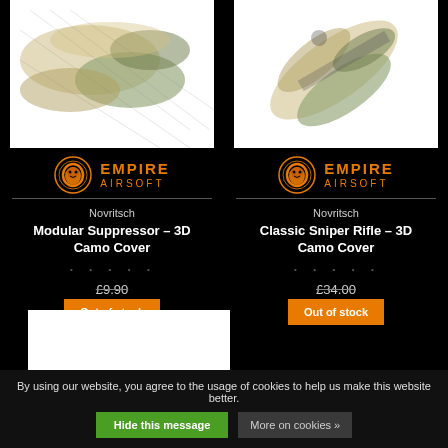[Figure (photo): Novritsch Modular Suppressor 3D Camo Cover product image on white background]
[Figure (logo): Empire Airsoft logo - orange lion crest with EMPIRE AIRSOFT text]
Novritsch
Modular Suppressor – 3D Camo Cover
• • • • •
£9.90
Out of stock
[Figure (photo): Novritsch Classic Sniper Rifle 3D Camo Cover product image on white background]
[Figure (logo): Empire Airsoft logo - orange lion crest with EMPIRE AIRSOFT text]
Novritsch
Classic Sniper Rifle – 3D Camo Cover
• • • • •
£34.00
Out of stock
[Figure (photo): Third product image partially visible, camouflage item on white background]
By using our website, you agree to the usage of cookies to help us make this website better.
Hide this message
More on cookies »